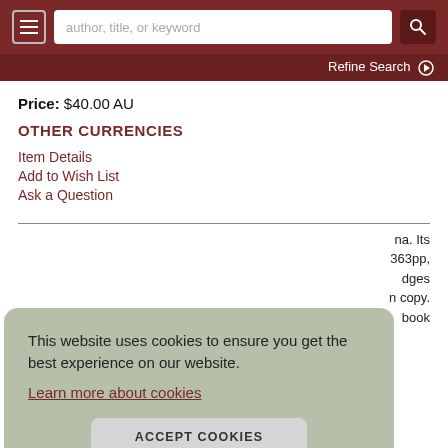author, title, or keyword | Refine Search
Price: $40.00 AU
OTHER CURRENCIES
Item Details
Add to Wish List
Ask a Question
This website uses cookies to ensure you get the best experience on our website. Learn more about cookies
ACCEPT COOKIES
na. Its
363pp, dges n copy. book
The frame of assessment that this book sets for itself is strictly defined to